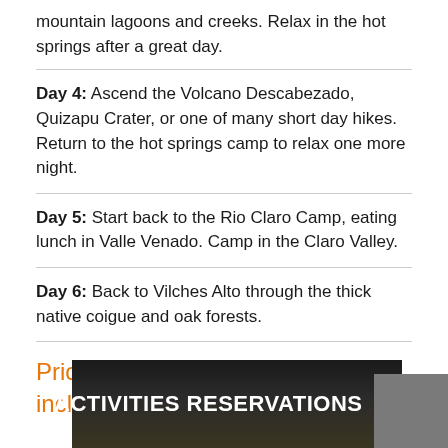mountain lagoons and creeks. Relax in the hot springs after a great day.
Day 4: Ascend the Volcano Descabezado, Quizapu Crater, or one of many short day hikes. Return to the hot springs camp to relax one more night.
Day 5: Start back to the Rio Claro Camp, eating lunch in Valle Venado. Camp in the Claro Valley.
Day 6: Back to Vilches Alto through the thick native coigue and oak forests.
Price $ 1800 person, 6 days, all-inclusive
[Figure (photo): Dark banner image with white bold text reading ACTIVITIES RESERVATIONS, with a dark nature background]